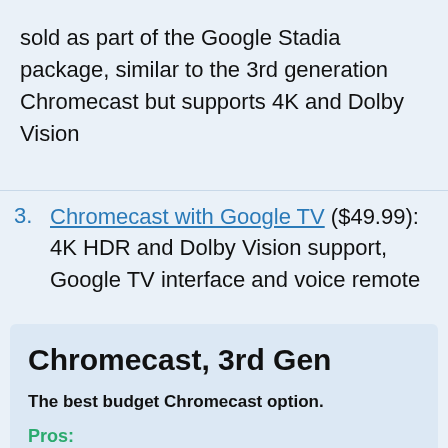sold as part of the Google Stadia package, similar to the 3rd generation Chromecast but supports 4K and Dolby Vision
Chromecast with Google TV ($49.99): 4K HDR and Dolby Vision support, Google TV interface and voice remote
Chromecast, 3rd Gen
The best budget Chromecast option.
Pros:
More affordable option